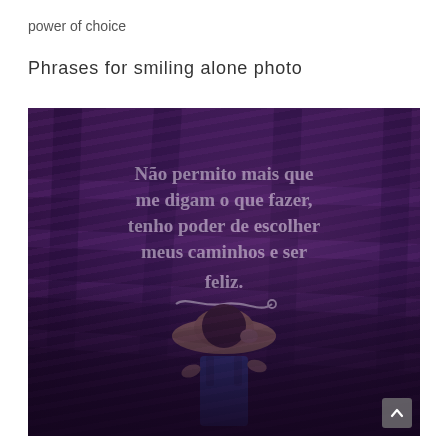power of choice
Phrases for smiling alone photo
[Figure (photo): A woman seen from behind, wearing a wide-brim straw hat and blue dress, standing in a lavender field with purple tones. Overlaid text in white bold serif reads: 'Não permito mais que me digam o que fazer, tenho poder de escolher meus caminhos e ser feliz.' with a decorative flourish beneath.]